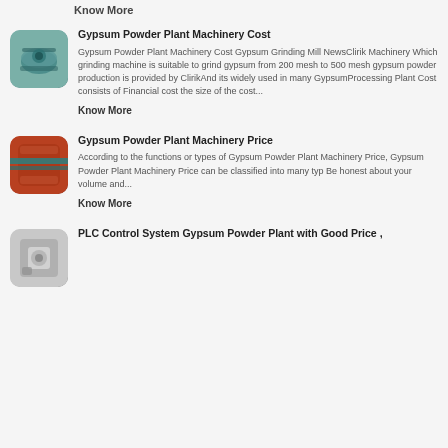Know More
[Figure (photo): Thumbnail image of gypsum grinding mill machinery with teal/grey coloring]
Gypsum Powder Plant Machinery Cost
Gypsum Powder Plant Machinery Cost Gypsum Grinding Mill NewsClirik Machinery Which grinding machine is suitable to grind gypsum from 200 mesh to 500 mesh gypsum powder production is provided by ClirikAnd its widely used in many GypsumProcessing Plant Cost consists of Financial cost the size of the cost...
Know More
[Figure (photo): Thumbnail image of gypsum machinery with orange/red and teal stripe coloring]
Gypsum Powder Plant Machinery Price
According to the functions or types of Gypsum Powder Plant Machinery Price, Gypsum Powder Plant Machinery Price can be classified into many typ Be honest about your volume and...
Know More
[Figure (photo): Thumbnail image of PLC control system machinery, grey/white coloring]
PLC Control System Gypsum Powder Plant with Good Price ,